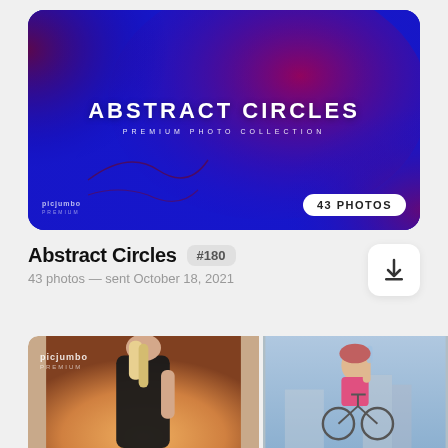[Figure (photo): Abstract Circles premium photo collection hero card with blue/red abstract background, title 'ABSTRACT CIRCLES', subtitle 'PREMIUM PHOTO COLLECTION', and '43 PHOTOS' badge]
Abstract Circles
#180
43 photos — sent October 18, 2021
[Figure (photo): Two side-by-side photos: left shows a woman in black athletic wear with blonde hair; right shows a woman in pink sports bra on a bicycle drinking water]